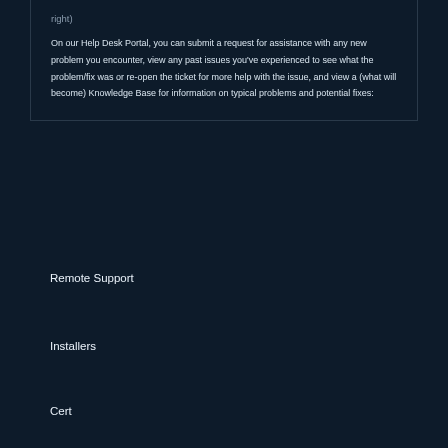right)
On our Help Desk Portal, you can submit a request for assistance with any new problem you encounter, view any past issues you've experienced to see what the problem/fix was or re-open the ticket for more help with the issue, and view a (what will become) Knowledge Base for information on typical problems and potential fixes:
Remote Support
Installers
Cert